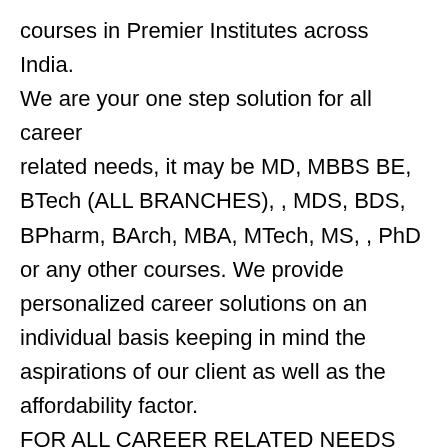courses in Premier Institutes across India. We are your one step solution for all career related needs, it may be MD, MBBS BE, BTech (ALL BRANCHES), , MDS, BDS, BPharm, BArch, MBA, MTech, MS, , PhD or any other courses. We provide personalized career solutions on an individual basis keeping in mind the aspirations of our client as well as the affordability factor.
FOR ALL CAREER RELATED NEEDS CONTACT US :
St. Gregorious Edu-Guidance,
#2, 2nd Floor,